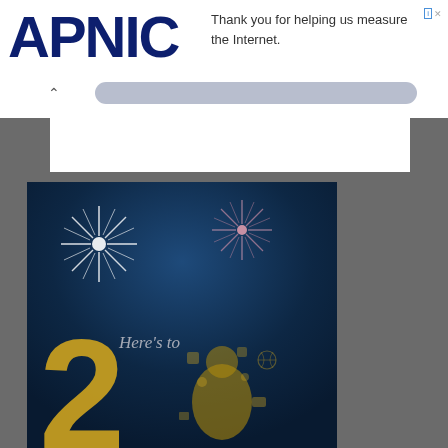[Figure (logo): APNIC logo in dark navy bold text]
Thank you for helping us measure the Internet.
[Figure (illustration): New Year celebration image with dark blue night sky background, two fireworks bursting (one white-silver on left, one pink-purple on right), text 'Here’s to' in italic grey, large gold number '2' at bottom left, and illustrated figures/icons on the right side in gold]